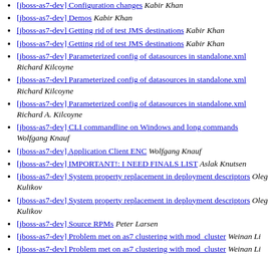[jboss-as7-dev] Configuration changes  Kabir Khan
[jboss-as7-dev] Demos  Kabir Khan
[jboss-as7-dev] Getting rid of test JMS destinations  Kabir Khan
[jboss-as7-dev] Getting rid of test JMS destinations  Kabir Khan
[jboss-as7-dev] Parameterized config of datasources in standalone.xml  Richard Kilcoyne
[jboss-as7-dev] Parameterized config of datasources in standalone.xml  Richard Kilcoyne
[jboss-as7-dev] Parameterized config of datasources in standalone.xml  Richard A. Kilcoyne
[jboss-as7-dev] CLI commandline on Windows and long commands  Wolfgang Knauf
[jboss-as7-dev] Application Client ENC  Wolfgang Knauf
[jboss-as7-dev] IMPORTANT!: I NEED FINALS LIST  Aslak Knutsen
[jboss-as7-dev] System property replacement in deployment descriptors  Oleg Kulikov
[jboss-as7-dev] System property replacement in deployment descriptors  Oleg Kulikov
[jboss-as7-dev] Source RPMs  Peter Larsen
[jboss-as7-dev] Problem met on as7 clustering with mod_cluster  Weinan Li
[jboss-as7-dev] Problem met on as7 clustering with mod_cluster  Weinan Li